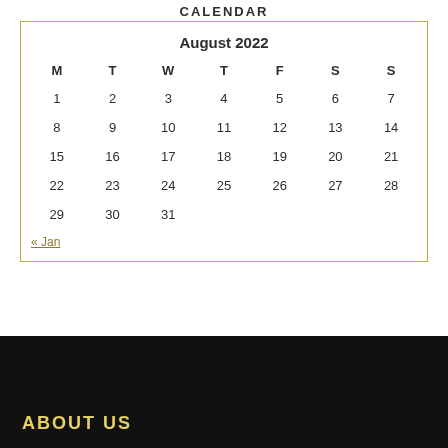CALENDAR
| M | T | W | T | F | S | S |
| --- | --- | --- | --- | --- | --- | --- |
| 1 | 2 | 3 | 4 | 5 | 6 | 7 |
| 8 | 9 | 10 | 11 | 12 | 13 | 14 |
| 15 | 16 | 17 | 18 | 19 | 20 | 21 |
| 22 | 23 | 24 | 25 | 26 | 27 | 28 |
| 29 | 30 | 31 |  |  |  |  |
« Jan
ABOUT US